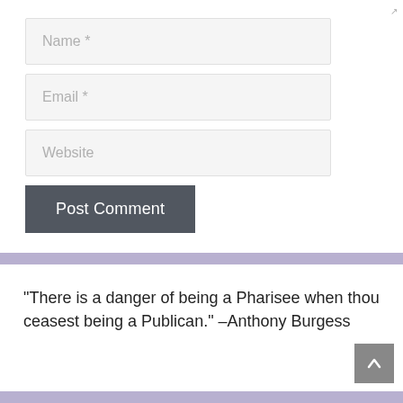[Figure (screenshot): Partial view of a comment form with resize handle at top]
Name *
Email *
Website
Post Comment
“There is a danger of being a Pharisee when thou ceasest being a Publican.” –Anthony Burgess